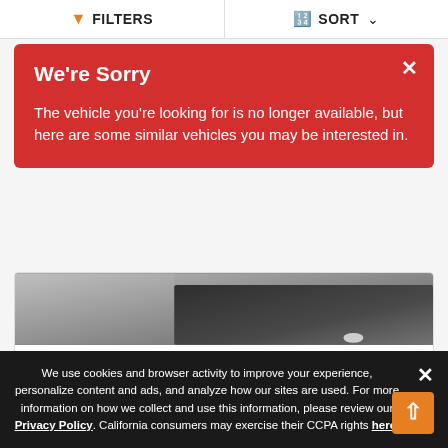FILTERS | SORT
We're Sorry

The vehicle you're looking for is no longer available, but here are some similar vehicles you may be interested in.
[Figure (photo): Partial photo of a car in a parking lot, dark and grey tones]
1972 Oldsmobile Cutlass
$40,995
| Engine | 350 Rocket |
| Miles | 47,000 |
We use cookies and browser activity to improve your experience, personalize content and ads, and analyze how our sites are used. For more information on how we collect and use this information, please review our Privacy Policy. California consumers may exercise their CCPA rights here.